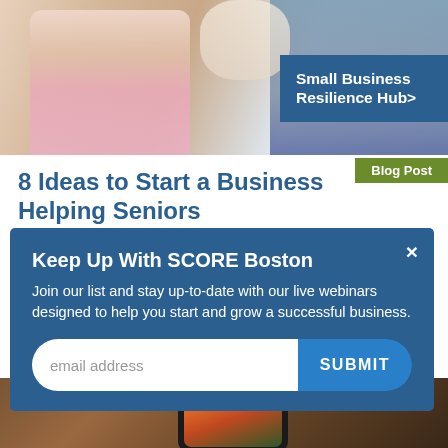[Figure (photo): Two people sitting together, one in a pink shirt, with a blue-shirted person visible on right side. Top portion of a webpage screenshot.]
Small Business Resilience Hub>
Blog Post
8 Ideas to Start a Business Helping Seniors
Keep Up With SCORE Boston
Join our list and stay up-to-date with our live webinars designed to help you start and grow a successful business.
email address
SUBMIT
[Figure (photo): Hand holding a smartphone showing a food delivery app with an image of a grain bowl dish.]